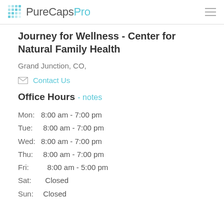PureCapsPro
Journey for Wellness - Center for Natural Family Health
Grand Junction, CO,
Contact Us
Office Hours - notes
Mon: 8:00 am - 7:00 pm
Tue:  8:00 am - 7:00 pm
Wed: 8:00 am - 7:00 pm
Thu:  8:00 am - 7:00 pm
Fri:   8:00 am - 5:00 pm
Sat:  Closed
Sun: Closed